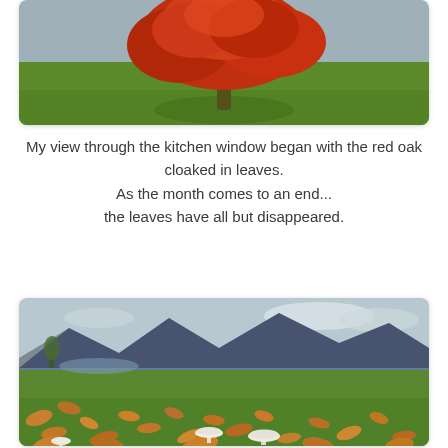[Figure (photo): A red oak tree with vibrant red leaves standing alone in a green field under a grey sky.]
My view through the kitchen window began with the red oak cloaked in leaves.
As the month comes to an end...
the leaves have all but disappeared.
[Figure (photo): A green meadow with fallen autumn leaves (orange and brown) and white mushrooms scattered on the grass, with mountains and a lake in the background under a cloudy sky.]